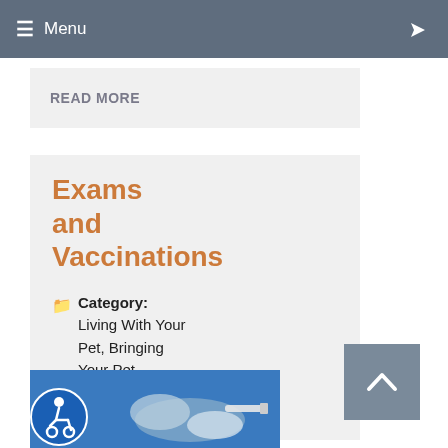≡ Menu
READ MORE
Exams and Vaccinations
Category: Living With Your Pet, Bringing Your Pet Home
[Figure (photo): A veterinarian in blue scrubs and white gloves examining or vaccinating a cat]